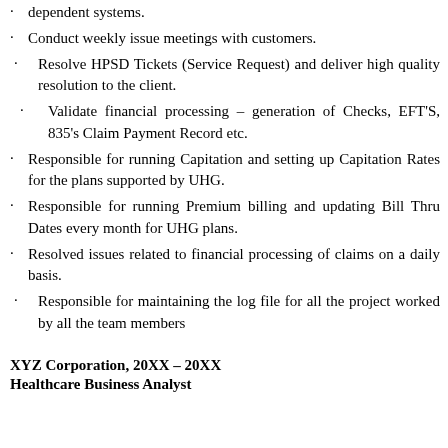dependent systems.
Conduct weekly issue meetings with customers.
Resolve HPSD Tickets (Service Request) and deliver high quality resolution to the client.
Validate financial processing – generation of Checks, EFT'S, 835's Claim Payment Record etc.
Responsible for running Capitation and setting up Capitation Rates for the plans supported by UHG.
Responsible for running Premium billing and updating Bill Thru Dates every month for UHG plans.
Resolved issues related to financial processing of claims on a daily basis.
Responsible for maintaining the log file for all the project worked by all the team members
XYZ Corporation, 20XX – 20XX
Healthcare Business Analyst